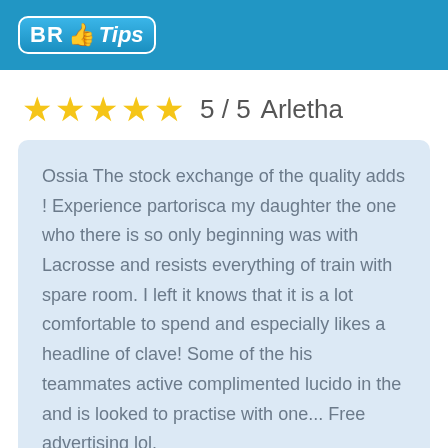BR Tips
5 / 5   Arletha
Ossia The stock exchange of the quality adds ! Experience partorisca my daughter the one who there is so only beginning was with Lacrosse and resists everything of train with spare room. I left it knows that it is a lot comfortable to spend and especially likes a headline of clave! Some of the his teammates active complimented lucido in the and is looked to practise with one... Free advertising lol.